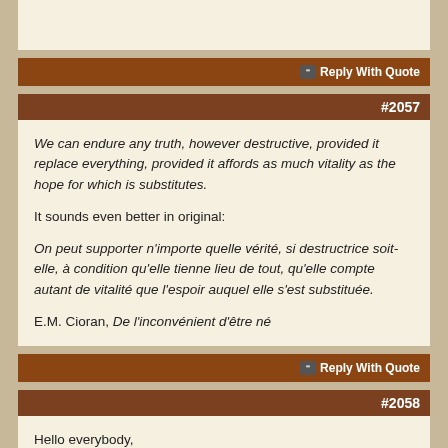Reply With Quote
#2057
We can endure any truth, however destructive, provided it replace everything, provided it affords as much vitality as the hope for which is substitutes.

It sounds even better in original:

On peut supporter n'importe quelle vérité, si destructrice soit-elle, à condition qu'elle tienne lieu de tout, qu'elle compte autant de vitalité que l'espoir auquel elle s'est substituée.

E.M. Cioran, De l'inconvénient d'être né
Reply With Quote
#2058
Hello everybody,
I want to share with you the first paragraph of one of my favourite novels, The Egyptian by Mika Waltari.
"I, SINUHE, the son of Senmut and of his wife Kipa, write this. I donot write it to the glory of the gods in the land of Kem, for I am weary of gods, nor to the glory of the Pharaohs, for I am weary of